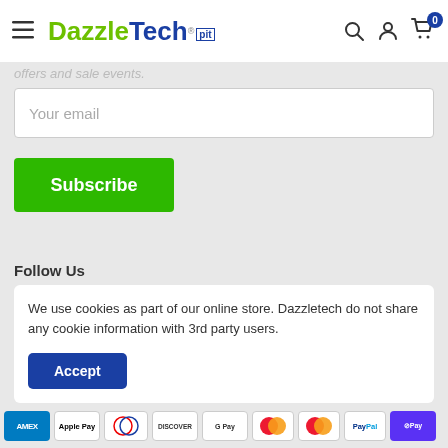DazzleTech
offers and sale events.
Your email
Subscribe
Follow Us
We use cookies as part of our online store. Dazzletech do not share any cookie information with 3rd party users.
Accept
AMEX Apple Pay Diners Club Discover Google Pay Mastercard Mastercard PayPal Shop Pay